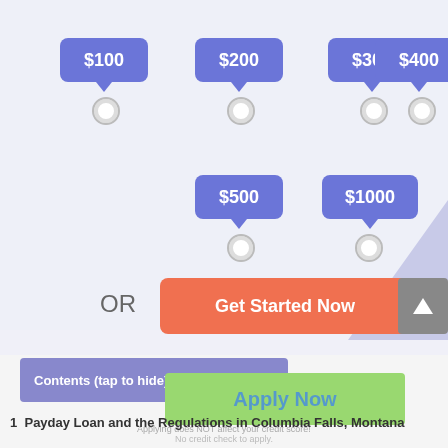[Figure (screenshot): Loan amount selector showing bubble buttons for $100, $200, $300, $400, $500, $1000 with radio buttons below each, an OR label and a Get Started Now button, plus Contents bar and Apply Now green button]
OR
Get Started Now
Contents (tap to hide) ^
Apply Now
Applying does NOT affect your credit score!
No credit check to apply.
1  Payday Loan and the Regulations in Columbia Falls, Montana